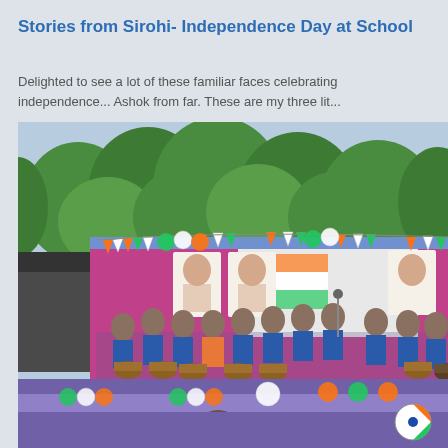Stories from Sirohi- Independence Day at School
Delighted to see a lot of these familiar faces celebrating independence... Ashok from far. These are my three lit...
[Figure (photo): School children in blue uniforms performing on stage during Independence Day celebrations. The stage is decorated with tricolor bunting flags (orange, white, green), balloons, and posters of Indian freedom fighters. Students are playing drums and other instruments. A banner with Indian flag motif is visible in the background. Green trees are visible above.]